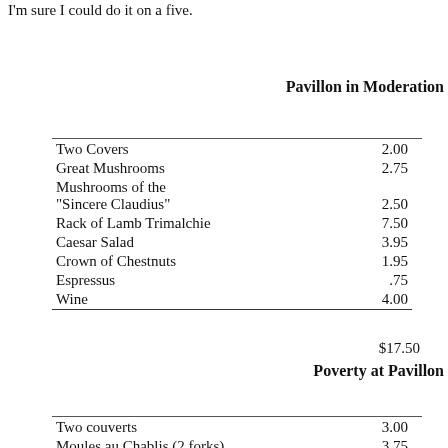I'm sure I could do it on a five.
Pavillon in Moderation
| Item | Price |
| --- | --- |
| Two Covers | 2.00 |
| Great Mushrooms | 2.75 |
| Mushrooms of the "Sincere Claudius" | 2.50 |
| Rack of Lamb Trimalchie | 7.50 |
| Caesar Salad | 3.95 |
| Crown of Chestnuts | 1.95 |
| Espressus | .75 |
| Wine | 4.00 |
$17.50
Poverty at Pavillon
| Item | Price |
| --- | --- |
| Two couverts | 3.00 |
| Moules au Chablis (2 forks) | 3.75 |